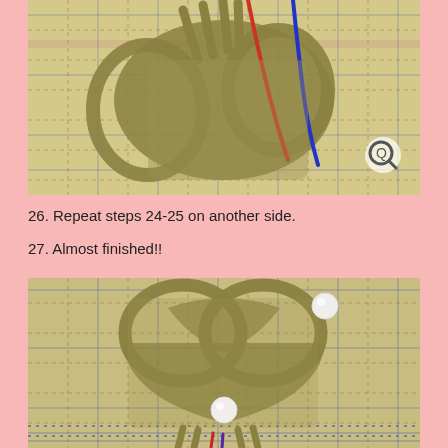[Figure (photo): Close-up photo of macrame knotting in progress on a plaid fabric background. Gold/olive paracord strands are knotted together with red and blue marker cords visible at the top. A magnifying glass icon is in the bottom right corner.]
26. Repeat steps 24-25 on another side.
27. Almost finished!!
[Figure (photo): Close-up photo of a nearly completed macrame heart or leaf knot pattern made from gold/olive paracord on a plaid fabric background. Two white pearl beads are visible — one at upper right and one at lower center of the knotted piece. Red and blue cords are partially visible at the bottom.]